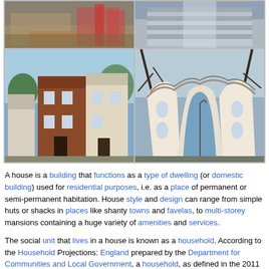[Figure (photo): Top-left photo: construction scene with machinery and red vehicles]
[Figure (photo): Top-right photo: modern building exterior, gray/concrete]
[Figure (photo): Bottom-left photo: traditional English terraced houses, brick]
[Figure (photo): Bottom-right photo: the Crooked House (Sopot, Poland), unusual wavy architecture]
A house is a building that functions as a type of dwelling (or domestic building) used for residential purposes, i.e. as a place of permanent or semi-permanent habitation. House style and design can range from simple huts or shacks in places like shanty towns and favelas, to multi-storey mansions containing a huge variety of amenities and services.
The social unit that lives in a house is known as a household. According to the Household Projections: England prepared by the Department for Communities and Local Government, a household, as defined in the 2011 Census is; 'one person living alone; or a group of people (not necessarily related) living at the same address who share cooking facilities and share a living room or sitting room or dining area'.